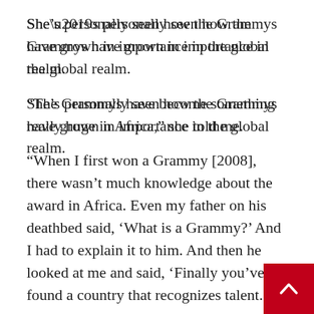She’s personally seen how the Grammys have grown in importance in the global realm.
“The Grammys have become something really huge in Africa,” she told me.
“When I first won a Grammy [2008], there wasn’t much knowledge about the award in Africa. Even my father on his deathbed said, ‘What is a Grammy?’ And I had to explain it to him. And then he looked at me and said, ‘Finally you’ve found a country that recognizes talent.’
Kidjo states, “We need to be really mindful of the importance of international music and representing diversity.
“The thing we have to do to really change thing not just represent all of these places, but from time